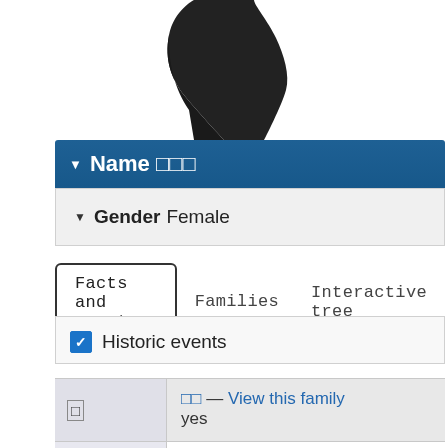[Figure (illustration): Partial silhouette of a person/figure in black, cropped at the top of the page]
▼ Name □□□
▼ Gender Female
Facts and events   Families   Interactive tree
☑ Historic events
| □ | □□ — View this family
yes |
| China Government/Dynasti | Han Dynasty
from 202 to 220 |